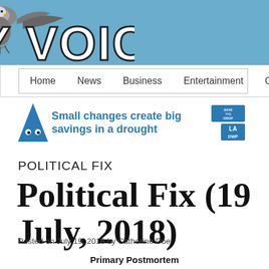VALLEY VOICE
Home  News  Business  Entertainment  Opinion
[Figure (infographic): Save the Drop / LA DWP drought awareness ad: blue triangle mascot with text 'Small changes create big savings in a drought' and Save the Drop / LA DWP logos]
POLITICAL FIX
Political Fix (19 July, 2018)
Posted on July 19, 2018 by Catherine Doe
Primary Postmortem